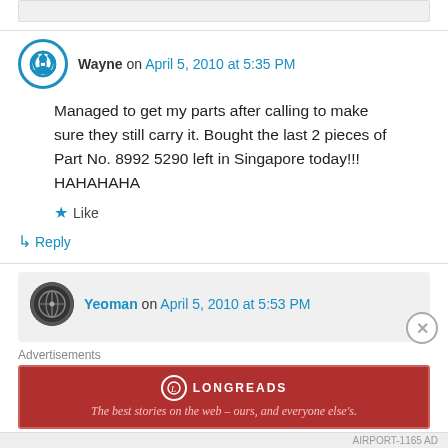(top bar / previous comment strip)
Wayne on April 5, 2010 at 5:35 PM
Managed to get my parts after calling to make sure they still carry it. Bought the last 2 pieces of Part No. 8992 5290 left in Singapore today!!! HAHAHAHA
★ Like
↳ Reply
Yeoman on April 5, 2010 at 5:53 PM
Advertisements
LONGREADS — The best stories on the web – ours, and everyone else's.
AIRPORT-1165 AD